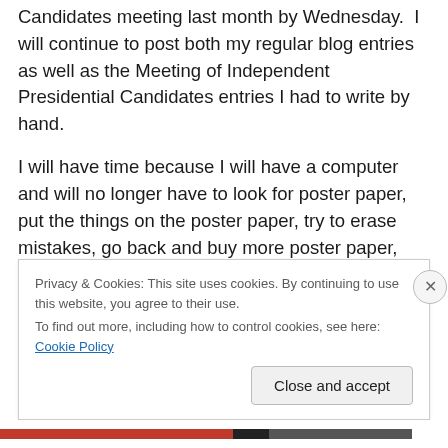Candidates meeting last month by Wednesday. I will continue to post both my regular blog entries as well as the Meeting of Independent Presidential Candidates entries I had to write by hand.
I will have time because I will have a computer and will no longer have to look for poster paper, put the things on the poster paper, try to erase mistakes, go back and buy more poster paper, carefully make a revised version of the poster paper I goofed on, organize the poster papers, and go to an office supply store because I do not have a safe
Privacy & Cookies: This site uses cookies. By continuing to use this website, you agree to their use.
To find out more, including how to control cookies, see here: Cookie Policy